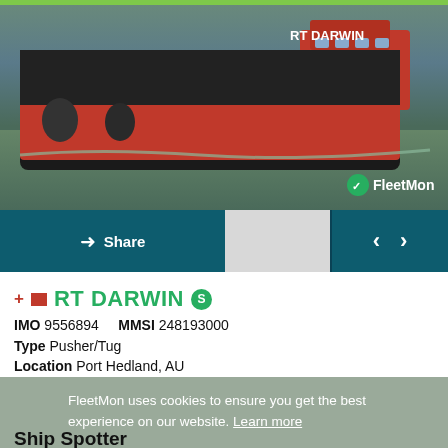[Figure (photo): Photo of RT Darwin ship on water, a red and black pusher/tug vessel with FleetMon watermark]
Share
< >
+ RT DARWIN
IMO 9556894   MMSI 248193000
Type Pusher/Tug
Location Port Hedland, AU
FleetMon uses cookies to ensure you get the best experience on our website. Learn more
Ship Spotter
bassheiner
Member since Oct 2013
Photographers comment